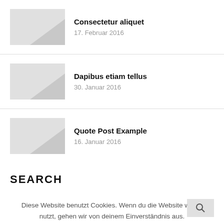Consectetur aliquet
17. Februar 2016
Dapibus etiam tellus
30. Januar 2016
Quote Post Example
16. Januar 2016
SEARCH
Diese Website benutzt Cookies. Wenn du die Website weiter nutzt, gehen wir von deinem Einverständnis aus.
OK
WEITERLESEN